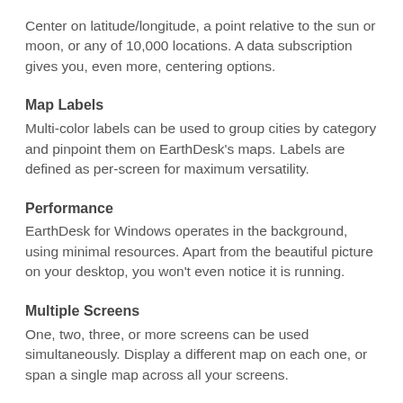Center on latitude/longitude, a point relative to the sun or moon, or any of 10,000 locations. A data subscription gives you, even more, centering options.
Map Labels
Multi-color labels can be used to group cities by category and pinpoint them on EarthDesk's maps. Labels are defined as per-screen for maximum versatility.
Performance
EarthDesk for Windows operates in the background, using minimal resources. Apart from the beautiful picture on your desktop, you won't even notice it is running.
Multiple Screens
One, two, three, or more screens can be used simultaneously. Display a different map on each one, or span a single map across all your screens.